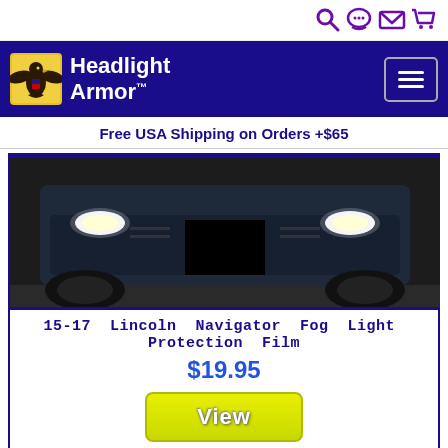Headlight Armor
Free USA Shipping on Orders +$65
[Figure (photo): Front view of a Lincoln Navigator showing fog lights on either side of the bumper, with a blacked-out license plate area in the center.]
15-17 Lincoln Navigator Fog Light Protection Film
$19.95
View
Accessorize your Lincoln Navigator while protecting your fog lights with our durable adhesive backed film covers. Designed to fit your 2015, 2016, or 2017 Lincoln Navigator